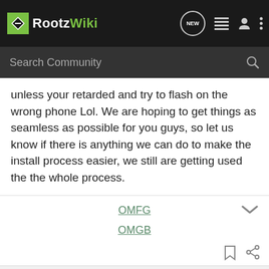RootzWiki
unless your retarded and try to flash on the wrong phone Lol. We are hoping to get things as seamless as possible for you guys, so let us know if there is anything we can do to make the install process easier, we still are getting used the the whole process.
OMFG
OMGB
bretth18 · Themer
Joined Jun 13, 2011 · 632 Posts